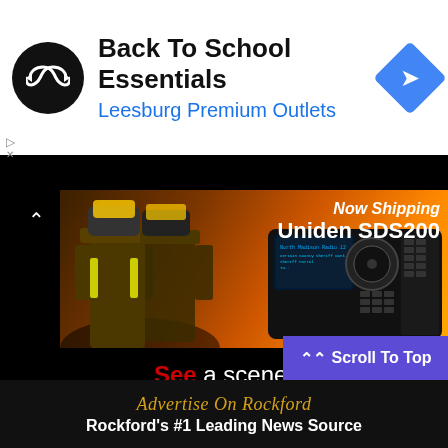[Figure (screenshot): Advertisement banner for Leesburg Premium Outlets Back To School Essentials with a black circular logo with infinity-like arrows, blue directional arrow diamond icon, text reading Back To School Essentials and Leesburg Premium Outlets in blue]
[Figure (photo): Advertisement banner showing firefighters in gear with a Uniden SDS200 police scanner radio, text says Now Shipping Uniden SDS200]
See a scene, Snap a photo or video of the scene, Send it to us at RockfordScanner@Gmail.com
[Figure (screenshot): Blue Scroll To Top button with chevron up icon]
[Figure (screenshot): Dark footer with gold italic text Advertise On Rockford and white bold text Rockford's #1 Leading News Source]